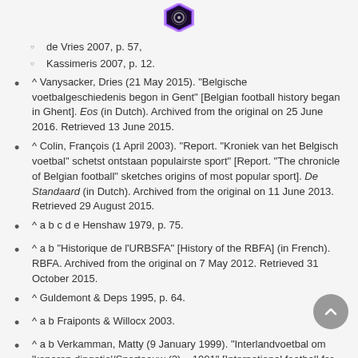[Figure (logo): Wikipedia-style hexagonal logo with dark purple/black circular icon]
de Vries 2007, p. 57,
Kassimeris 2007, p. 12.
^ Vanysacker, Dries (21 May 2015). "Belgische voetbalgeschiedenis begon in Gent" [Belgian football history began in Ghent]. Eos (in Dutch). Archived from the original on 25 June 2016. Retrieved 13 June 2015.
^ Colin, François (1 April 2003). "Report. "Kroniek van het Belgisch voetbal" schetst ontstaan populairste sport" [Report. "The chronicle of Belgian football" sketches origins of most popular sport]. De Standaard (in Dutch). Archived from the original on 11 June 2013. Retrieved 29 August 2015.
^ a b c d e Henshaw 1979, p. 75.
^ a b "Historique de l'URBSFA" [History of the RBFA] (in French). RBFA. Archived from the original on 7 May 2012. Retrieved 31 October 2015.
^ Guldemont & Deps 1995, p. 64.
^ a b Fraiponts & Willocx 2003.
^ a b Verkamman, Matty (9 January 1999). "Interlandvoetbal om 'koperen dingetje'/Sporteeuw (2) – 1901" [International football for 'the copper thingy'/Sports Century (2) – 1901]. Trouw (in Dutch). Archived from the original on 25 June 2016. Retrieved 9 April 2015.
^ a b c Hubert 1980, p. 12.